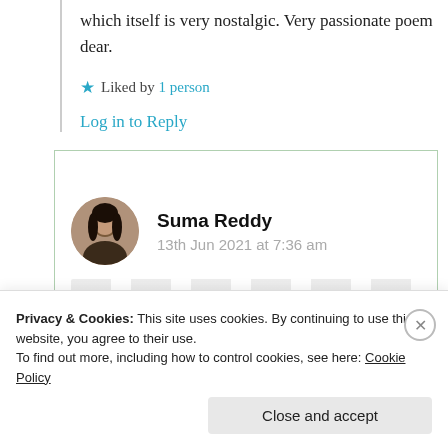which itself is very nostalgic. Very passionate poem dear.
★ Liked by 1 person
Log in to Reply
Suma Reddy
13th Jun 2021 at 7:36 am
Privacy & Cookies: This site uses cookies. By continuing to use this website, you agree to their use. To find out more, including how to control cookies, see here: Cookie Policy
Close and accept